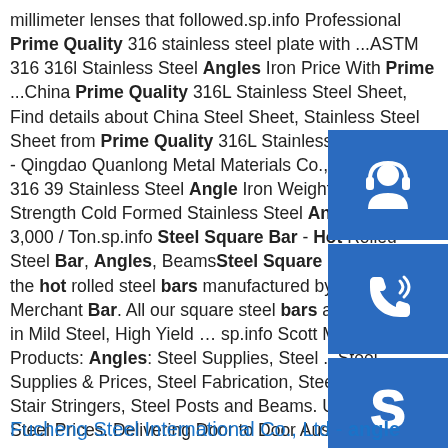millimeter lenses that followed.sp.info Professional Prime Quality 316 stainless steel plate with ...ASTM 316 316l Stainless Steel Angles Iron Price With Prime ...China Prime Quality 316L Stainless Steel Sheet, Find details about China Steel Sheet, Stainless Steel Sheet from Prime Quality 316L Stainless Steel Sheet - Qingdao Quanlong Metal Materials Co., Ltd. 201 304 316 304 Stainless Steel Angle Iron Weight High Strength Cold Formed Stainless Steel Angle US $800-3,000 / Ton.sp.info Steel Square Bar - Hot Rolled Steel Bar, Angles, Beams Steel Square Bar is one of the hot rolled steel bars manufactured by Caparo Merchant Bar. All our square steel bars are available in Mild Steel, High Yield … sp.info Scott Metals - Products: Angles: Steel Supplies, Steel ...Steel Supplies & Prices, Steel Fabrication, Steel Products, Stair Stringers, Steel Posts and Beams. Up-To-Date Steel Prices. Delivering Door to Door Australia Wide.
[Figure (infographic): Three blue sidebar buttons with white icons: headset/customer service icon, phone/call icon, Skype icon]
Fucheng Steel International Co., Ltd - angle